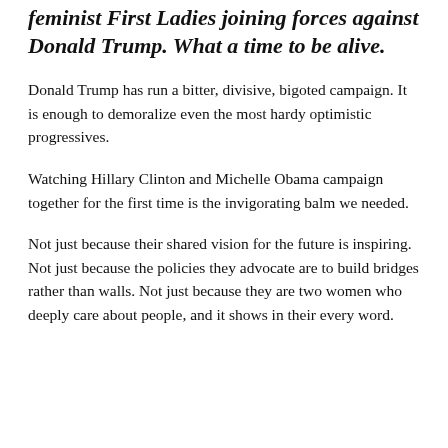feminist First Ladies joining forces against Donald Trump. What a time to be alive.
Donald Trump has run a bitter, divisive, bigoted campaign. It is enough to demoralize even the most hardy optimistic progressives.
Watching Hillary Clinton and Michelle Obama campaign together for the first time is the invigorating balm we needed.
Not just because their shared vision for the future is inspiring. Not just because the policies they advocate are to build bridges rather than walls. Not just because they are two women who deeply care about people, and it shows in their every word.